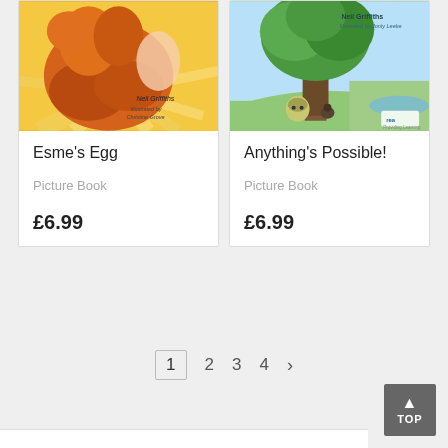[Figure (illustration): Book cover for Esme's Egg showing an orange/brown chicken/hen illustration with warm yellow background, author Neil Griffiths, illustrated by Christine Grove]
Esme's Egg
Picture Book
£6.99
[Figure (illustration): Book cover for Anything's Possible! showing a green nature scene with a large tree, small creature, and countryside background, author Neil Griffiths, illustrated by Jonty Leeke]
Anything's Possible!
Picture Book
£6.99
1  2  3  4  >